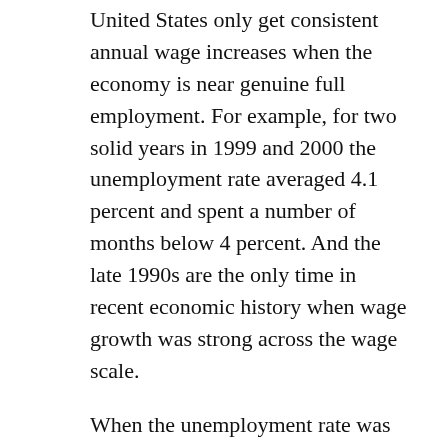United States only get consistent annual wage increases when the economy is near genuine full employment. For example, for two solid years in 1999 and 2000 the unemployment rate averaged 4.1 percent and spent a number of months below 4 percent. And the late 1990s are the only time in recent economic history when wage growth was strong across the wage scale.
When the unemployment rate was held above estimates of how low it could go without generating inflation for a decade and a half between 1979 and 1995, a wage growth disaster for American workers resulted, with inflation-adjusted wages falling for the bottom 80 percent of workers.
Last week saw the release of Census Bureau data on incomes and earnings for 2016. The data confirmed that 2016 was a good year for most American households, with median income rising 3.2 percent, following an excellent year in 2015 as well. This data